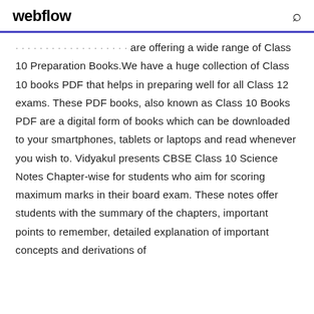webflow
are offering a wide range of Class 10 Preparation Books.We have a huge collection of Class 10 books PDF that helps in preparing well for all Class 12 exams. These PDF books, also known as Class 10 Books PDF are a digital form of books which can be downloaded to your smartphones, tablets or laptops and read whenever you wish to. Vidyakul presents CBSE Class 10 Science Notes Chapter-wise for students who aim for scoring maximum marks in their board exam. These notes offer students with the summary of the chapters, important points to remember, detailed explanation of important concepts and derivations of